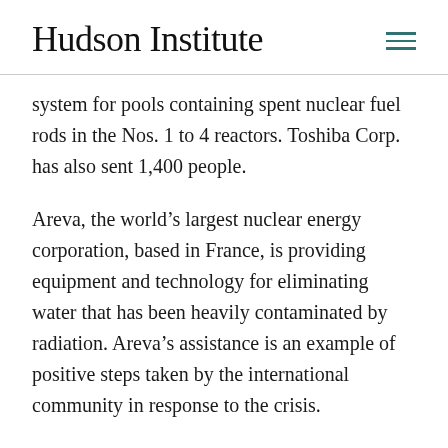Hudson Institute
system for pools containing spent nuclear fuel rods in the Nos. 1 to 4 reactors. Toshiba Corp. has also sent 1,400 people.
Areva, the world’s largest nuclear energy corporation, based in France, is providing equipment and technology for eliminating water that has been heavily contaminated by radiation. Areva’s assistance is an example of positive steps taken by the international community in response to the crisis.
The U.S. military and the U.S. nuclear emergency team, including the Nuclear Regulatory Commission and the